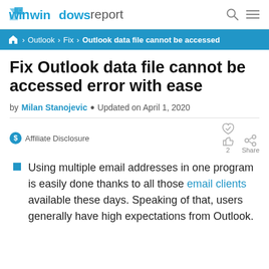windows report
🏠 › Outlook › Fix › Outlook data file cannot be accessed
Fix Outlook data file cannot be accessed error with ease
by Milan Stanojevic • Updated on April 1, 2020
Affiliate Disclosure
Using multiple email addresses in one program is easily done thanks to all those email clients available these days. Speaking of that, users generally have high expectations from Outlook.